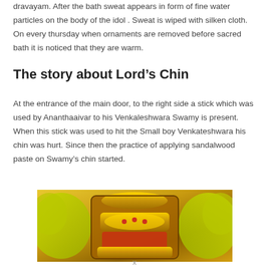dravayam. After the bath sweat appears in form of fine water particles on the body of the idol . Sweat is wiped with silken cloth. On every thursday when ornaments are removed before sacred bath it is noticed that they are warm.
The story about Lord’s Chin
At the entrance of the main door, to the right side a stick which was used by Ananthaaivar to his Venkaleshwara Swamy is present. When this stick was used to hit the Small boy Venkateshwara his chin was hurt. Since then the practice of applying sandalwood paste on Swamy’s chin started.
[Figure (photo): Photo of Lord Venkateshwara idol adorned with gold ornaments and surrounded by yellow flowers/garlands.]
x